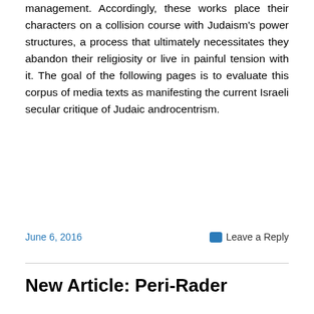management. Accordingly, these works place their characters on a collision course with Judaism's power structures, a process that ultimately necessitates they abandon their religiosity or live in painful tension with it. The goal of the following pages is to evaluate this corpus of media texts as manifesting the current Israeli secular critique of Judaic androcentrism.
June 6, 2016
Leave a Reply
New Article: Peri-Rader